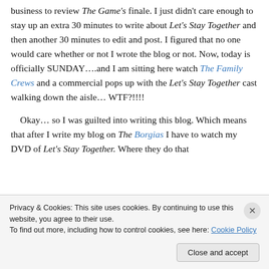business to review The Game's finale. I just didn't care enough to stay up an extra 30 minutes to write about Let's Stay Together and then another 30 minutes to edit and post. I figured that no one would care whether or not I wrote the blog or not. Now, today is officially SUNDAY….and I am sitting here watch The Family Crews and a commercial pops up with the Let's Stay Together cast walking down the aisle… WTF?!!!!
Okay… so I was guilted into writing this blog. Which means that after I write my blog on The Borgias I have to watch my DVD of Let's Stay Together. Where they do that
Privacy & Cookies: This site uses cookies. By continuing to use this website, you agree to their use. To find out more, including how to control cookies, see here: Cookie Policy
Close and accept